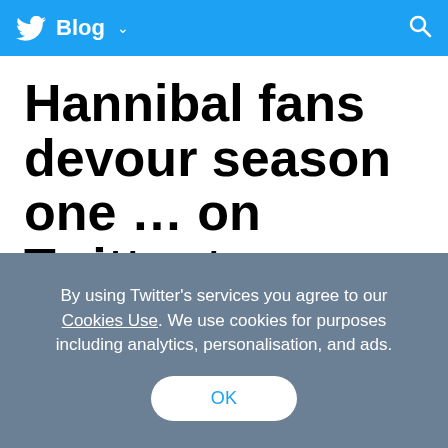Twitter Blog
Hannibal fans devour season one … on Twitter too
By using Twitter's services you agree to our Cookies Use. We use cookies for purposes including analytics, personalisation, and ads.